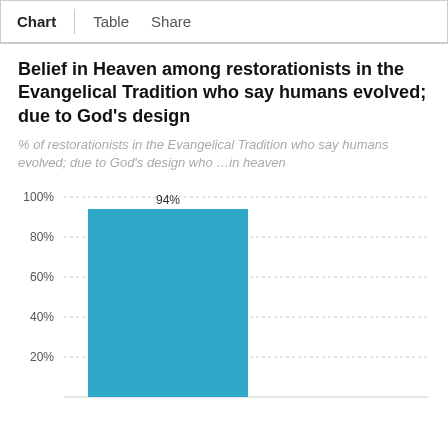Chart   Table   Share
Belief in Heaven among restorationists in the Evangelical Tradition who say humans evolved; due to God's design
% of restorationists in the Evangelical Tradition who say humans evolved; due to God's design who …in heaven
[Figure (bar-chart): Belief in Heaven among restorationists in the Evangelical Tradition who say humans evolved; due to God's design]